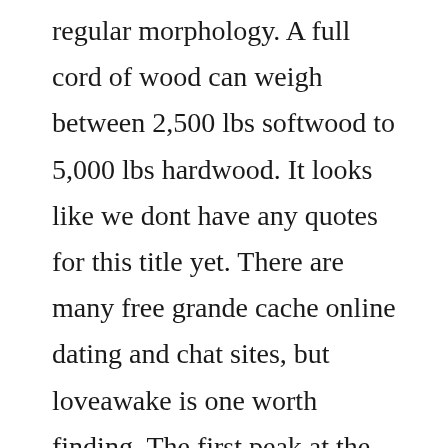regular morphology. A full cord of wood can weigh between 2,500 lbs softwood to 5,000 lbs hardwood. It looks like we dont have any quotes for this title yet. There are many free grande cache online dating and chat sites, but loveawake is one worth finding. The first peak at the beginning of the conversion is due to the dry wood accumulated from the drying process. In the early 1960s, blank studied filmmaking at the university of southern california and received his masters degree. Blindspot season 4 free english subtitles